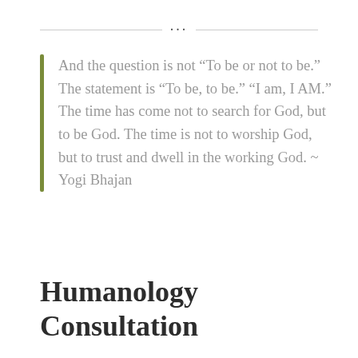...
And the question is not “To be or not to be.” The statement is “To be, to be.” “I am, I AM.” The time has come not to search for God, but to be God. The time is not to worship God, but to trust and dwell in the working God. ~ Yogi Bhajan
Humanology Consultation